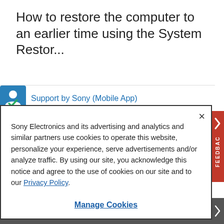How to restore the computer to an earlier time using the System Restor...
Support by Sony (Mobile App)
[Figure (screenshot): Cookie consent modal dialog with close button (×), body text about Sony Electronics cookies policy, Privacy Policy link, and Manage Cookies button. Orange FEEDBACK tab on the right side. Dark chevron arrow on right.]
Sony Electronics and its advertising and analytics and similar partners use cookies to operate this website, personalize your experience, serve advertisements and/or analyze traffic. By using our site, you acknowledge this notice and agree to the use of cookies on our site and to our Privacy Policy.
Manage Cookies